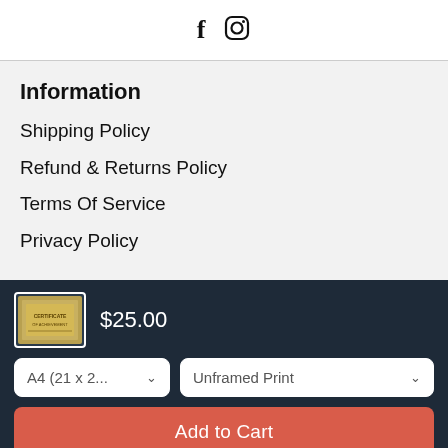[Figure (logo): Social media icons: Facebook (f) and Instagram camera logo]
Information
Shipping Policy
Refund & Returns Policy
Terms Of Service
Privacy Policy
[Figure (photo): Small product thumbnail image showing a gold-toned print/certificate]
$25.00
A4 (21 x 2...
Unframed Print
Add to Cart